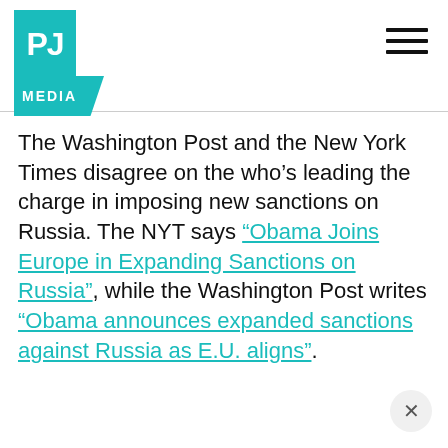PJ MEDIA
The Washington Post and the New York Times disagree on the who’s leading the charge in imposing new sanctions on Russia. The NYT says “Obama Joins Europe in Expanding Sanctions on Russia”, while the Washington Post writes “Obama announces expanded sanctions against Russia as E.U. aligns”.